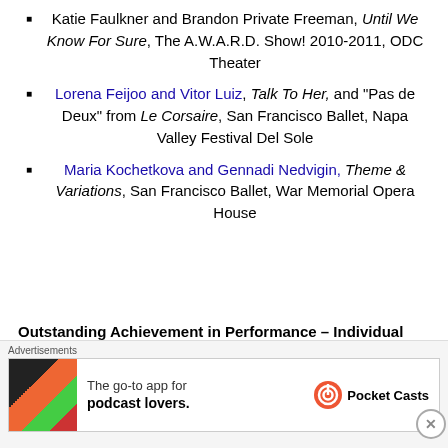Katie Faulkner and Brandon Private Freeman, Until We Know For Sure, The A.W.A.R.D. Show! 2010-2011, ODC Theater
Lorena Feijoo and Vitor Luiz, Talk To Her, and "Pas de Deux" from Le Corsaire, San Francisco Ballet, Napa Valley Festival Del Sole
Maria Kochetkova and Gennadi Nedvigin, Theme & Variations, San Francisco Ballet, War Memorial Opera House
Outstanding Achievement in Performance – Individual
[Figure (screenshot): Advertisement banner: Pocket Casts app promotion — 'The go-to app for podcast lovers.' with Pocket Casts logo]